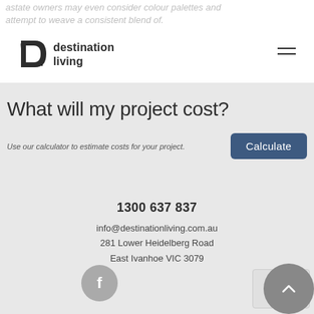astate owners may even consider colour palettes and attempt to weave a consistent blend of.
[Figure (logo): Destination Living logo — black geometric house/arrow icon with text 'destination living']
What will my project cost?
Use our calculator to estimate costs for your project.
Calculate
1300 637 837
info@destinationliving.com.au
281 Lower Heidelberg Road
East Ivanhoe VIC 3079